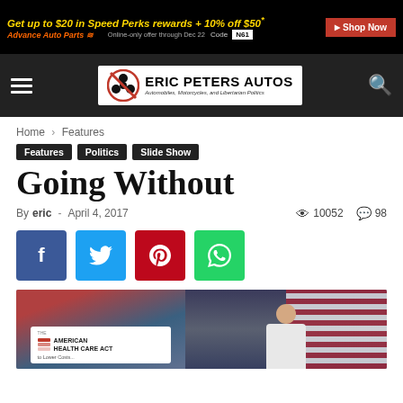[Figure (screenshot): Advance Auto Parts advertisement banner: 'Get up to $20 in Speed Perks rewards + 10% off $50' with Shop Now button and code N61]
[Figure (logo): Eric Peters Autos logo with navigation bar - hamburger menu, logo with crossed-out clover, tagline 'Automobiles, Motorcycles, and Libertarian Politics', and search icon]
Home › Features
Features  Politics  Slide Show
Going Without
By eric - April 4, 2017   10052   98
[Figure (screenshot): Social sharing buttons: Facebook (blue), Twitter (light blue), Pinterest (red), WhatsApp (green)]
[Figure (photo): Photo showing American Health Care Act signage on left and a man (Paul Ryan) at podium with American flag on right]